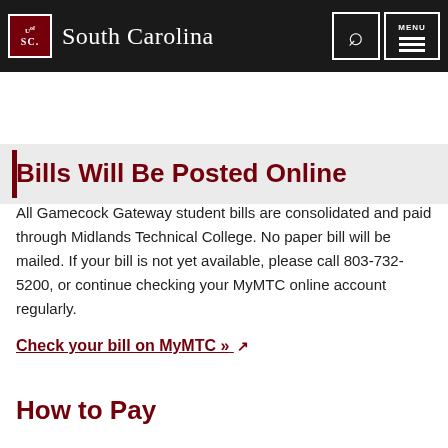University of South Carolina — South Carolina
[Figure (screenshot): Gray banner with dark red vertical bar on left]
Bills Will Be Posted Online
All Gamecock Gateway student bills are consolidated and paid through Midlands Technical College. No paper bill will be mailed. If your bill is not yet available, please call 803-732-5200, or continue checking your MyMTC online account regularly.
Check your bill on MyMTC » ↗
How to Pay